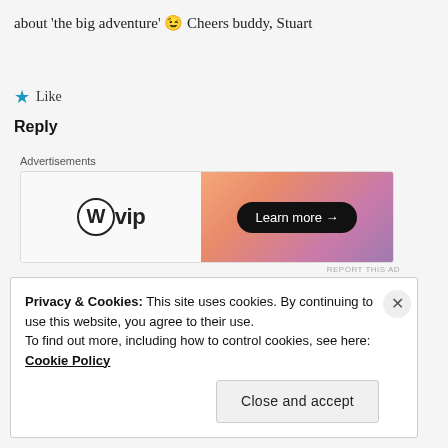about 'the big adventure' 😉 Cheers buddy, Stuart
★ Like
Reply
[Figure (other): WordPress VIP advertisement banner with 'Learn more →' button on orange/pink gradient background]
Simon Creasey
september 3, 2018 at 8:55 am
Privacy & Cookies: This site uses cookies. By continuing to use this website, you agree to their use. To find out more, including how to control cookies, see here: Cookie Policy
Close and accept